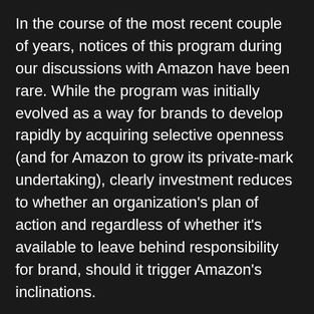In the course of the most recent couple of years, notices of this program during our discussions with Amazon have been rare. While the program was initially evolved as a way for brands to develop rapidly by acquiring selective openness (and for Amazon to grow its private-mark undertaking), clearly investment reduces to whether an organization's plan of action and regardless of whether it's available to leave behind responsibility for brand, should it trigger Amazon's inclinations.
Similarly as with any of Amazon's programs, make a stride back and consider how Amazon